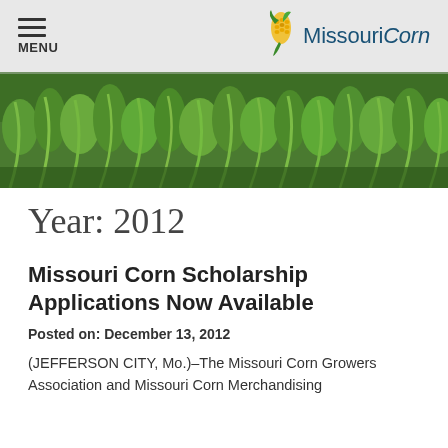MENU | MissouriCorn
[Figure (photo): Aerial/close-up view of a corn field with young green corn plants growing densely.]
Year: 2012
Missouri Corn Scholarship Applications Now Available
Posted on: December 13, 2012
(JEFFERSON CITY, Mo.)–The Missouri Corn Growers Association and Missouri Corn Merchandising